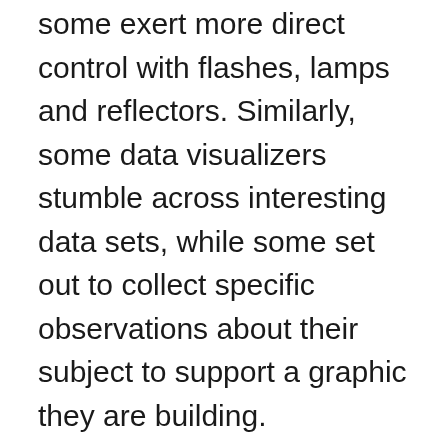some exert more direct control with flashes, lamps and reflectors. Similarly, some data visualizers stumble across interesting data sets, while some set out to collect specific observations about their subject to support a graphic they are building.
Framing is critical to photography: controlling how the light bouncing off of the subject will enter the camera. Where is the camera in relation to the subject and the main sources of light? Which parts of the subject are in the shot, which are in focus, how does the subject relate to the background? Photographers choose the answers these questions when